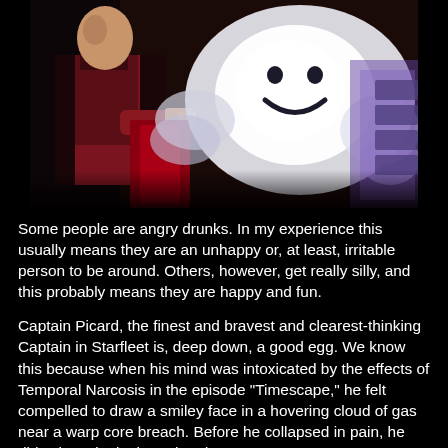[Figure (photo): Screenshot from Star Trek: The Next Generation episode 'Timescape'. On the left, Captain Picard in a red and black Starfleet uniform holds a small object. On the right, a large white cloud of gas/smoke with a smiley face drawn in it hovers near what appears to be a warp core breach. The background is dark.]
Some people are angry drunks. In my experience this usually means they are an unhappy or, at least, irritable person to be around. Others, however, get really silly, and this probably means they are happy and fun.
Captain Picard, the finest and bravest and clearest-thinking Captain in Starfleet is, deep down, a good egg. We know this because when his mind was intoxicated by the effects of Temporal Narcosis in the episode "Timescape," he felt compelled to draw a smiley face in a hovering cloud of gas near a warp core breach. Before he collapsed in pain, he didn't just giggle, he pointed to his accomplishment with pride.